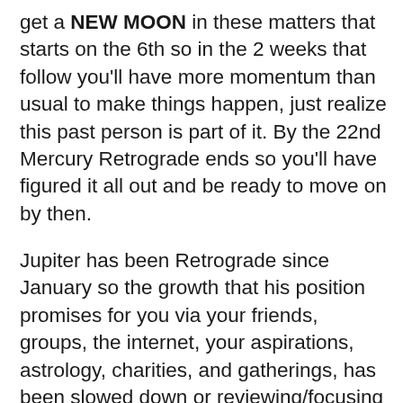get a NEW MOON in these matters that starts on the 6th so in the 2 weeks that follow you'll have more momentum than usual to make things happen, just realize this past person is part of it. By the 22nd Mercury Retrograde ends so you'll have figured it all out and be ready to move on by then.
Jupiter has been Retrograde since January so the growth that his position promises for you via your friends, groups, the internet, your aspirations, astrology, charities, and gatherings, has been slowed down or reviewing/focusing on the old stuff. Now on the 9th Jupiter ends that Retrograde and goes Direct so from now through September 9th you'll have one of the biggest growth opportunities of a 12 year cycle to expand your horizons via these matters. Look at ways to involve legal, travel, media, marketing, publishing, educational, wedding, religious, or political themes for best results. Do note that any last